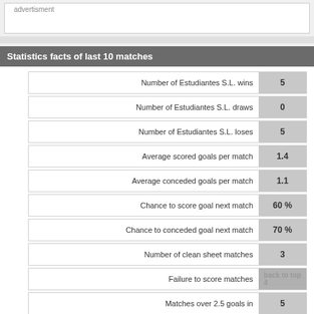advertisment
Statistics facts of last 10 matches
| Statistic | Value |
| --- | --- |
| Number of Estudiantes S.L. wins | 5 |
| Number of Estudiantes S.L. draws | 0 |
| Number of Estudiantes S.L. loses | 5 |
| Average scored goals per match | 1.4 |
| Average conceded goals per match | 1.1 |
| Chance to score goal next match | 60 % |
| Chance to conceded goal next match | 70 % |
| Number of clean sheet matches | 3 |
| Failure to score matches | 4 |
| Matches over 2.5 goals in | 5 |